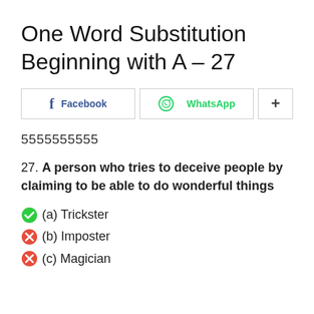One Word Substitution Beginning with A – 27
[Figure (other): Social share buttons: Facebook, WhatsApp, and a plus/more button]
5555555555
27. A person who tries to deceive people by claiming to be able to do wonderful things
(a) Trickster [correct]
(b) Imposter [incorrect]
(c) Magician [incorrect]